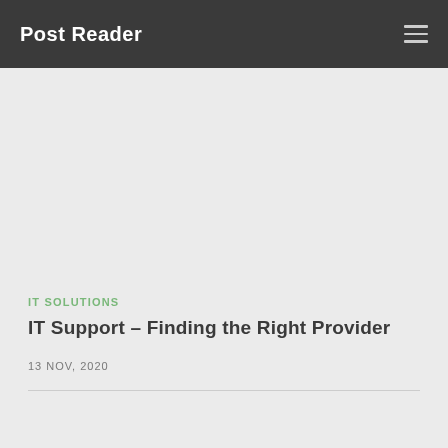Post Reader
IT SOLUTIONS
IT Support – Finding the Right Provider
13 NOV, 2020